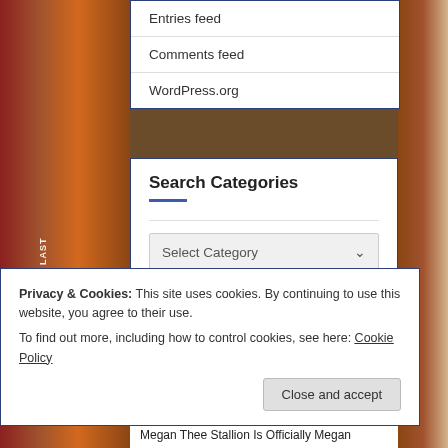Entries feed
Comments feed
WordPress.org
Search Categories
Select Category
Privacy & Cookies: This site uses cookies. By continuing to use this website, you agree to their use.
To find out more, including how to control cookies, see here: Cookie Policy
Close and accept
Megan Thee Stallion Is Officially Megan